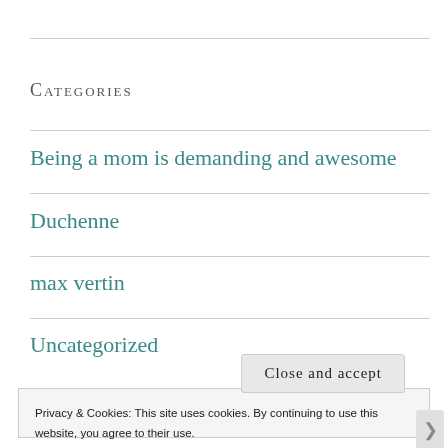Categories
Being a mom is demanding and awesome
Duchenne
max vertin
Uncategorized
Privacy & Cookies: This site uses cookies. By continuing to use this website, you agree to their use.
To find out more, including how to control cookies, see here:
Cookie Policy
Close and accept